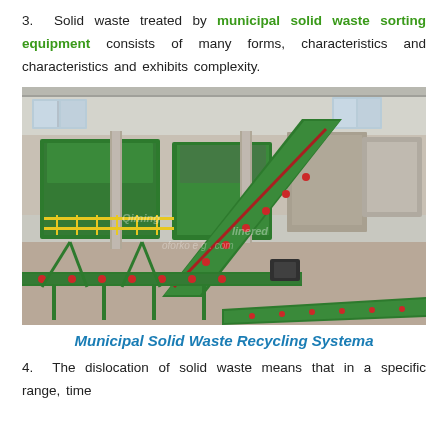3.  Solid waste treated by municipal solid waste sorting equipment consists of many forms, characteristics and characteristics and exhibits complexity.
[Figure (photo): Interior of a municipal solid waste sorting facility showing large green conveyor belt systems, sorting equipment, and machinery in a warehouse-like industrial building.]
Municipal Solid Waste Recycling Systema
4.  The dislocation of solid waste means that in a specific range, time